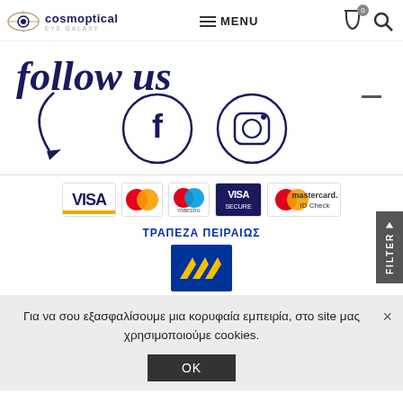cosmoptical EYE GALAXY | MENU
[Figure (illustration): Follow us handwritten text with arrow pointing to Facebook and Instagram social media icons in circles]
[Figure (logo): Payment logos: VISA, Mastercard, Maestro, VISA Secure, Mastercard ID Check]
ΤΡΑΠΕΖΑ ΠΕΙΡΑΙΩΣ
[Figure (logo): Piraeus Bank logo - blue square with yellow/gold chevron pattern]
Για να σου εξασφαλίσουμε μια κορυφαία εμπειρία, στο site μας χρησιμοποιούμε cookies.
OK